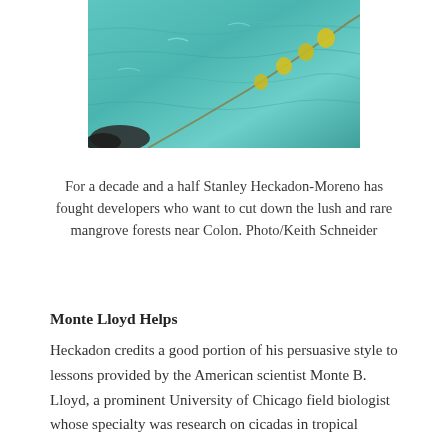[Figure (photo): Aerial or overhead photo of turquoise/teal ocean water with yellow buoys on a net or rope line, and what appears to be dark rocks or debris in the lower left corner.]
For a decade and a half Stanley Heckadon-Moreno has fought developers who want to cut down the lush and rare mangrove forests near Colon. Photo/Keith Schneider
Monte Lloyd Helps
Heckadon credits a good portion of his persuasive style to lessons provided by the American scientist Monte B. Lloyd, a prominent University of Chicago field biologist whose specialty was research on cicadas in tropical